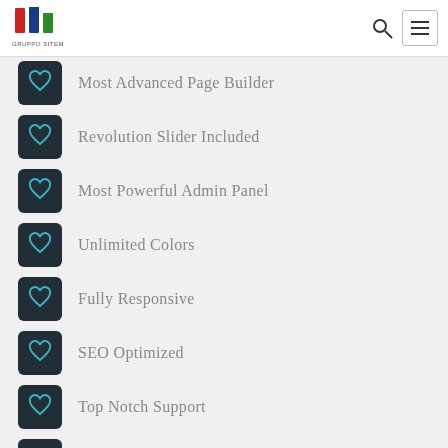[Figure (logo): GruppoSitem logo with colorful building-like icon and text GRUPPO SITEM below]
Most Advanced Page Builder
Revolution Slider Included
Most Powerful Admin Panel
Unlimited Colors
Fully Responsive
SEO Optimized
Top Notch Support
Very Easy To Use
Most Advanced Page Builder
Revolution Slider Included